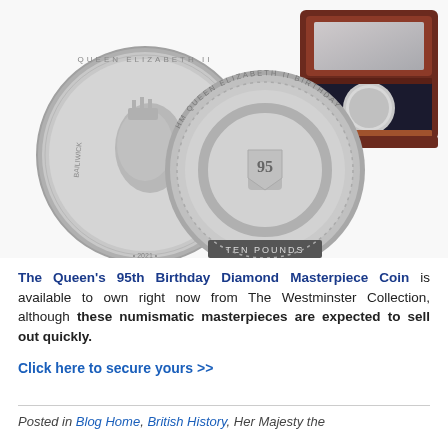[Figure (photo): Photograph of the Queen's 95th Birthday Diamond Masterpiece Coin showing two silver coins with Queen Elizabeth II portrait on obverse and 95th birthday design on reverse, plus a coin displayed in a dark-interior wooden presentation box]
The Queen's 95th Birthday Diamond Masterpiece Coin is available to own right now from The Westminster Collection, although these numismatic masterpieces are expected to sell out quickly.
Click here to secure yours >>
Posted in Blog Home, British History, Her Majesty the